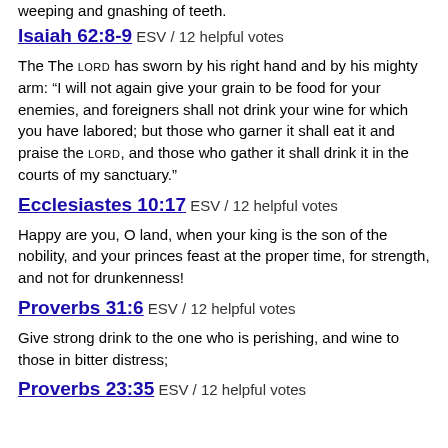weeping and gnashing of teeth.
Isaiah 62:8-9 ESV / 12 helpful votes
The LORD has sworn by his right hand and by his mighty arm: “I will not again give your grain to be food for your enemies, and foreigners shall not drink your wine for which you have labored; but those who garner it shall eat it and praise the LORD, and those who gather it shall drink it in the courts of my sanctuary.”
Ecclesiastes 10:17 ESV / 12 helpful votes
Happy are you, O land, when your king is the son of the nobility, and your princes feast at the proper time, for strength, and not for drunkenness!
Proverbs 31:6 ESV / 12 helpful votes
Give strong drink to the one who is perishing, and wine to those in bitter distress;
Proverbs 23:35 ESV / 12 helpful votes